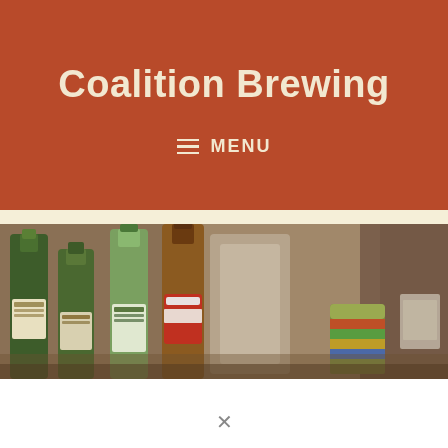Coalition Brewing
MENU
[Figure (photo): Multiple beer bottles (green and brown glass) arranged in a row on a surface, with a blurred background showing shelving and a colorful can.]